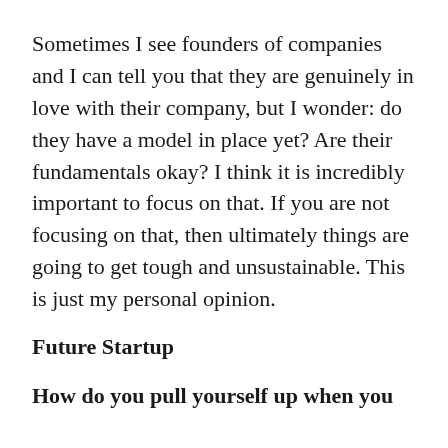Sometimes I see founders of companies and I can tell you that they are genuinely in love with their company, but I wonder: do they have a model in place yet? Are their fundamentals okay? I think it is incredibly important to focus on that. If you are not focusing on that, then ultimately things are going to get tough and unsustainable. This is just my personal opinion.
Future Startup
How do you pull yourself up when you